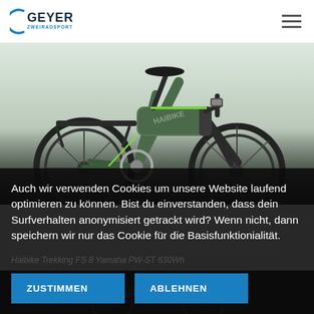Geyer Zweiradsport
[Figure (photo): Green e-bike (trekking/city e-bike) on white/grey background, side view showing full bicycle with rear rack, suspension fork, and integrated battery]
Auch wir verwenden Cookies um unsere Website laufend optimieren zu können. Bist du einverstanden, dass dein Surfverhalten anonymisiert getrackt wird? Wenn nicht, dann speichern wir nur das Cookie für die Basisfunktionialität.
ZUSTIMMEN
ABLEHNEN